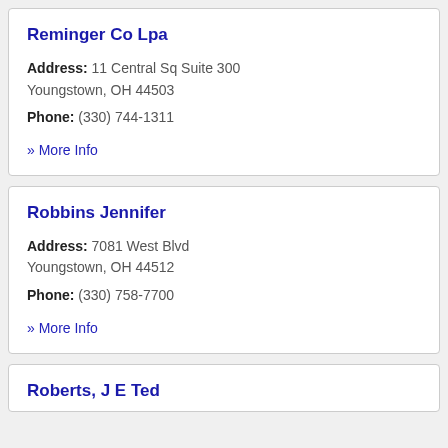Reminger Co Lpa
Address: 11 Central Sq Suite 300 Youngstown, OH 44503
Phone: (330) 744-1311
» More Info
Robbins Jennifer
Address: 7081 West Blvd Youngstown, OH 44512
Phone: (330) 758-7700
» More Info
Roberts, J E Ted